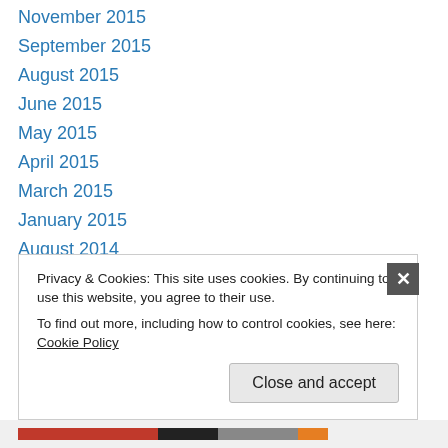November 2015
September 2015
August 2015
June 2015
May 2015
April 2015
March 2015
January 2015
August 2014
May 2014
April 2014
February 2014
January 2014
Privacy & Cookies: This site uses cookies. By continuing to use this website, you agree to their use. To find out more, including how to control cookies, see here: Cookie Policy
Close and accept